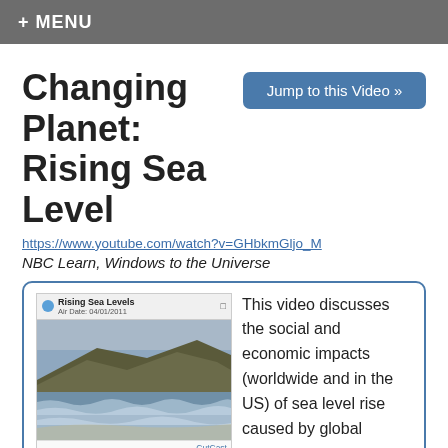+ MENU
Changing Planet: Rising Sea Level
Jump to this Video »
https://www.youtube.com/watch?v=GHbkmGljo_M
NBC Learn, Windows to the Universe
[Figure (screenshot): Video thumbnail showing aerial view of a rocky coastline with waves, titled 'Rising Sea Levels', Air Date: 04/01/2011, with a CurCast watermark.]
This video discusses the social and economic impacts (worldwide and in the US) of sea level rise caused by global warming (aired April 1, 2011).